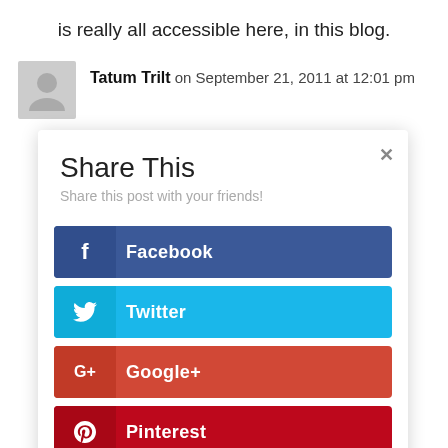is really all accessible here, in this blog.
Tatum Trilt on September 21, 2011 at 12:01 pm
Share This
Share this post with your friends!
Facebook
Twitter
Google+
Pinterest